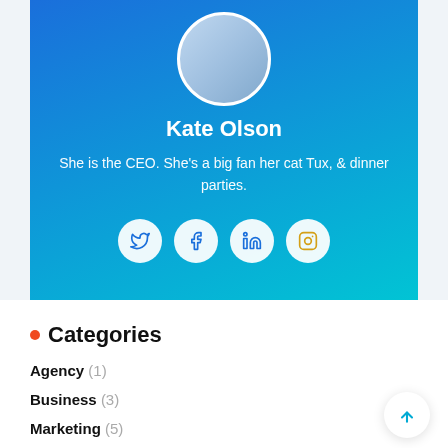[Figure (photo): Circular profile photo of Kate Olson on a blue-to-teal gradient card background]
Kate Olson
She is the CEO. She's a big fan her cat Tux, & dinner parties.
[Figure (infographic): Social media icons: Twitter, Facebook, LinkedIn, Instagram in white circles]
Categories
Agency (1)
Business (3)
Marketing (5)
SEO (2)